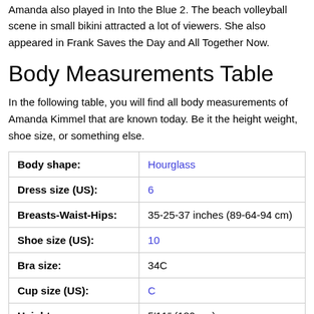Amanda also played in Into the Blue 2. The beach volleyball scene in small bikini attracted a lot of viewers. She also appeared in Frank Saves the Day and All Together Now.
Body Measurements Table
In the following table, you will find all body measurements of Amanda Kimmel that are known today. Be it the height weight, shoe size, or something else.
| Body shape: | Hourglass |
| Dress size (US): | 6 |
| Breasts-Waist-Hips: | 35-25-37 inches (89-64-94 cm) |
| Shoe size (US): | 10 |
| Bra size: | 34C |
| Cup size (US): | C |
| Height: | 5′11″ (180 cm) |